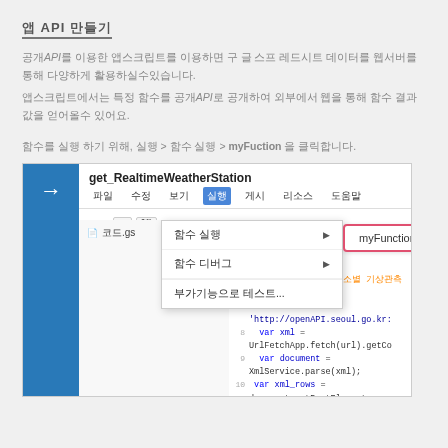앱 API 만들기
공개API를 이용한 앱스크립트를 이용하면 구 글 스프 레드시트 데이터를 웹서버를 통해 다양하게 활용하실수있습니다.
앱스크립트에서는 특정 함수를 공개API로 공개하여 외부에서 웹을 통해 함수 결과값을 얻어올수 있어요.
함수를 실행 하기 위해, 실행 > 함수 실행 > myFuction 을 클릭합니다.
[Figure (screenshot): Google Apps Script IDE screenshot showing get_RealtimeWeatherStation script with a dropdown menu open under '실행' (Run) > '함수 실행' (Run function) > 'myFunction' highlighted in a pink-bordered popup. The code editor shows JavaScript code for fetching Seoul weather data via openAPI.]